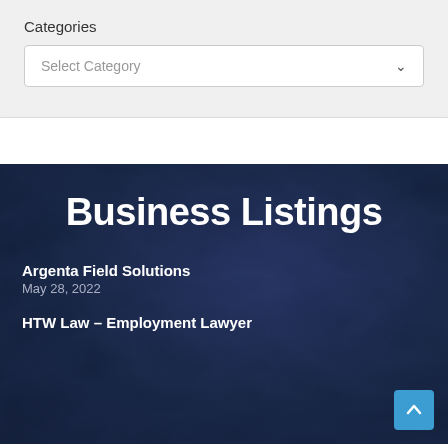Categories
Select Category
Business Listings
Argenta Field Solutions
May 28, 2022
HTW Law – Employment Lawyer